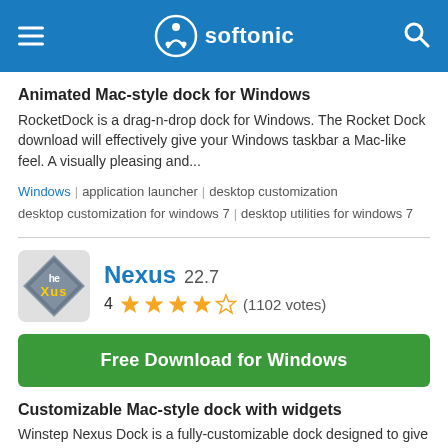softonic
Animated Mac-style dock for Windows
RocketDock is a drag-n-drop dock for Windows. The Rocket Dock download will effectively give your Windows taskbar a Mac-like feel. A visually pleasing and...
Windows | application launcher | desktop customization
desktop customization for windows 7 | desktop utilities for windows 7
[Figure (logo): Nexus application logo — diamond/rhombus shaped badge with 'heXus' stylized text on grey background]
Nexus 22.7
4 ★★★★☆ (1102 votes)
Free Download for Windows
Customizable Mac-style dock with widgets
Winstep Nexus Dock is a fully-customizable dock designed to give you some of the aesthetics and functions of the Mac OS X dock.If you are sick of the...